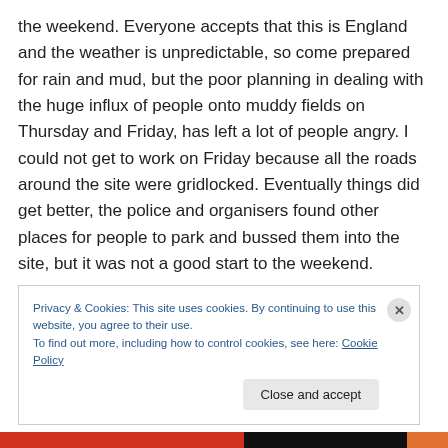the weekend.  Everyone accepts that this is England and the weather is unpredictable, so come prepared for rain and mud, but the poor planning in dealing with the huge influx of people onto muddy fields on Thursday and Friday, has left a lot of people angry.  I could not get to work on Friday because all the roads around the site were gridlocked.  Eventually things did get better, the police and organisers found other places for people to park and bussed them into the site, but it was not a good start to the weekend.
Privacy & Cookies: This site uses cookies. By continuing to use this website, you agree to their use.
To find out more, including how to control cookies, see here: Cookie Policy